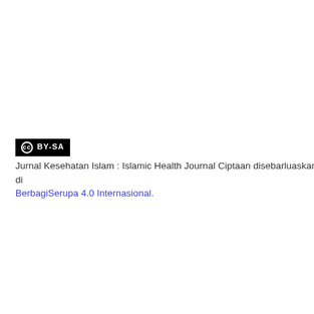[Figure (logo): Creative Commons CC BY-SA license badge, black background with white text]
Jurnal Kesehatan Islam : Islamic Health Journal Ciptaan disebarluaskan di BerbagiSerupa 4.0 Internasional.